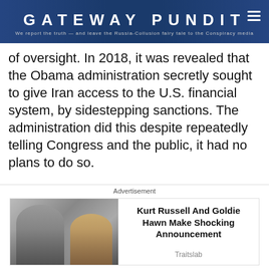GATEWAY PUNDIT — We report the truth — and leave the Russia-Collusion fairy tale to the Conspiracy media
of oversight. In 2018, it was revealed that the Obama administration secretly sought to give Iran access to the U.S. financial system, by sidestepping sanctions. The administration did this despite repeatedly telling Congress and the public, it had no plans to do so.
We now also know that Obama had been permitting Hezbollah to engage in criminality on American soil, not to mention obstructing FBI investigations into Hezbollah activities (Project…
Advertisement
[Figure (photo): Advertisement photo showing two people (resembling Kurt Russell and Goldie Hawn)]
Kurt Russell And Goldie Hawn Make Shocking Announcement
Traitslab